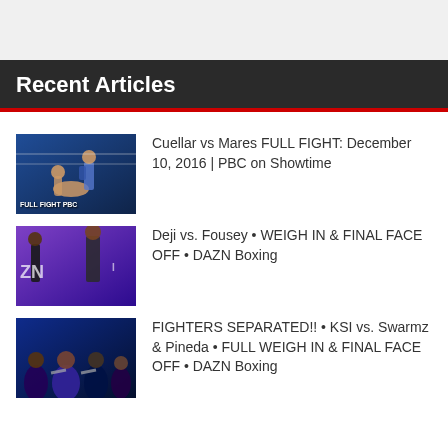Recent Articles
[Figure (photo): Boxing match photo with 'FULL FIGHT PBC' overlay, two fighters in ring]
Cuellar vs Mares FULL FIGHT: December 10, 2016 | PBC on Showtime
[Figure (photo): Two boxers at weigh-in with DAZN branding, purple background]
Deji vs. Fousey • WEIGH IN & FINAL FACE OFF • DAZN Boxing
[Figure (photo): Fighters being separated at face-off event, dark background]
FIGHTERS SEPARATED!! • KSI vs. Swarmz & Pineda • FULL WEIGH IN & FINAL FACE OFF • DAZN Boxing